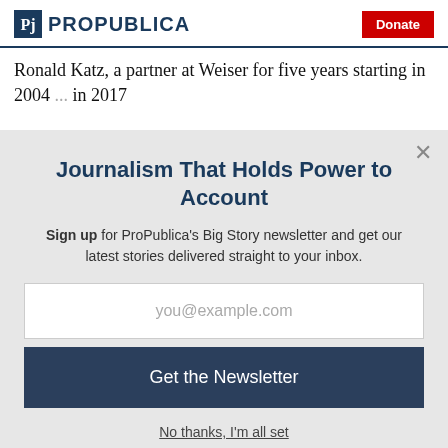ProPublica | Donate
Ronald Katz, a partner at Weiser for five years starting in 2004 ... in 2017
Journalism That Holds Power to Account
Sign up for ProPublica's Big Story newsletter and get our latest stories delivered straight to your inbox.
you@example.com
Get the Newsletter
No thanks, I'm all set
This site is protected by reCAPTCHA and the Google Privacy Policy and Terms of Service apply.